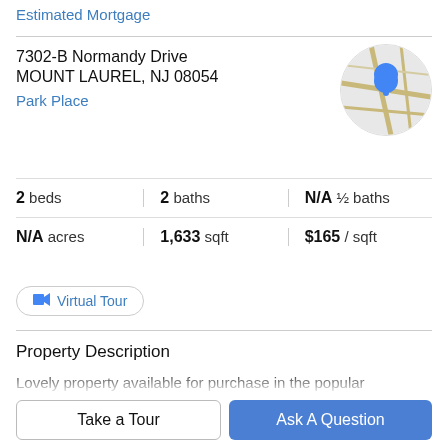Estimated Mortgage
7302-B Normandy Drive
MOUNT LAUREL, NJ 08054
Park Place
[Figure (map): Circular map thumbnail with a blue location pin marker]
2 beds | 2 baths | N/A ½ baths | N/A acres | 1,633 sqft | $165 / sqft
Virtual Tour
Property Description
Lovely property available for purchase in the popular community of Park PlaceEnd unit condo in Park Place.
Take a Tour
Ask A Question